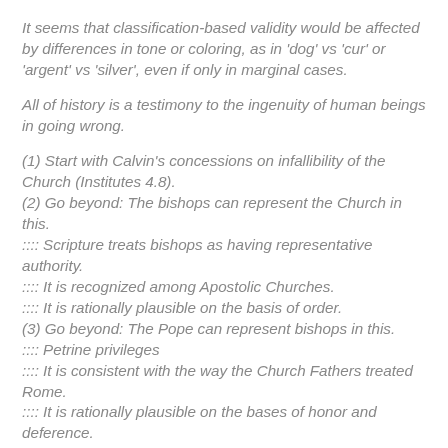It seems that classification-based validity would be affected by differences in tone or coloring, as in 'dog' vs 'cur' or 'argent' vs 'silver', even if only in marginal cases.
All of history is a testimony to the ingenuity of human beings in going wrong.
(1) Start with Calvin's concessions on infallibility of the Church (Institutes 4.8).
(2) Go beyond: The bishops can represent the Church in this.
:::: Scripture treats bishops as having representative authority.
:::: It is recognized among Apostolic Churches.
:::: It is rationally plausible on the basis of order.
(3) Go beyond: The Pope can represent bishops in this.
:::: Petrine privileges
:::: It is consistent with the way the Church Fathers treated Rome.
:::: It is rationally plausible on the bases of honor and deference.